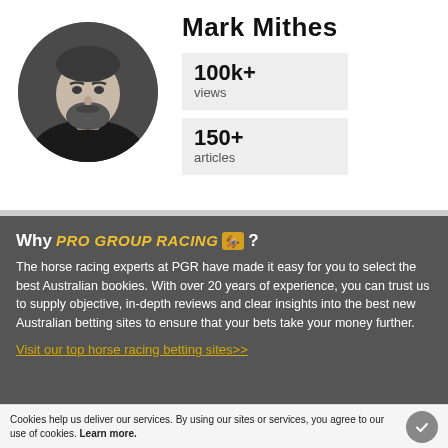Mark Mithes
[Figure (photo): Black and white circular headshot photo of Mark Mithes, a bearded man]
100k+
views
150+
articles
Why PRO GROUP RACING ?
The horse racing experts at PGR have made it easy for you to select the best Australian bookies. With over 20 years of experience, you can trust us to supply objective, in-depth reviews and clear insights into the best new Australian betting sites to ensure that your bets take your money further.
Visit our top horse racing betting sites>>
Cookies help us deliver our services. By using our sites or services, you agree to our use of cookies. Learn more.